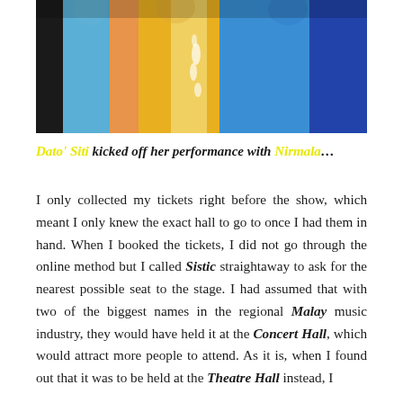[Figure (photo): Photo of people in colourful traditional clothing — blue, orange, yellow, and royal blue garments — standing together, cropped at the torso.]
Dato' Siti kicked off her performance with Nirmala...
I only collected my tickets right before the show, which meant I only knew the exact hall to go to once I had them in hand. When I booked the tickets, I did not go through the online method but I called Sistic straightaway to ask for the nearest possible seat to the stage. I had assumed that with two of the biggest names in the regional Malay music industry, they would have held it at the Concert Hall, which would attract more people to attend. As it is, when I found out that it was to be held at the Theatre Hall instead, I